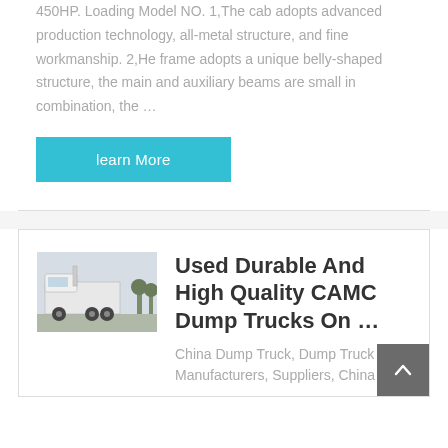450HP. Loading Model NO. 1,The cab adopts advanced production technology, all-metal structure, and fine workmanship. 2,He frame adopts a unique belly-shaped structure, the main and auxiliary beams are small in combination, the …
learn More
[Figure (photo): White CAMC heavy dump truck / tractor unit parked outdoors]
Used Durable And High Quality CAMC Dump Trucks On …
China Dump Truck, Dump Truck Manufacturers, Suppliers, China